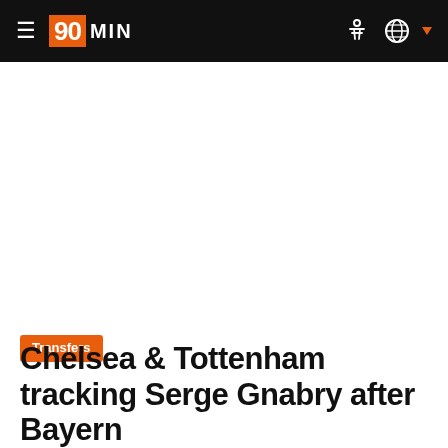≡ 90MIN
Transfers
Chelsea & Tottenham tracking Serge Gnabry after Bayern